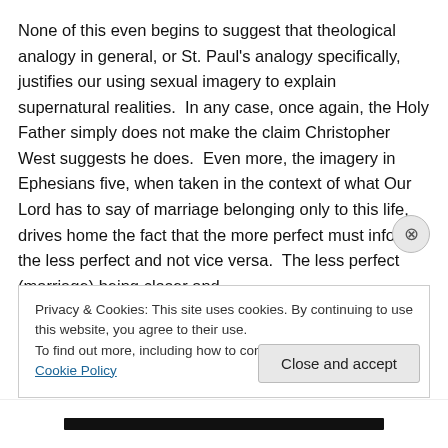None of this even begins to suggest that theological analogy in general, or St. Paul's analogy specifically, justifies our using sexual imagery to explain supernatural realities.  In any case, once again, the Holy Father simply does not make the claim Christopher West suggests he does.  Even more, the imagery in Ephesians five, when taken in the context of what Our Lord has to say of marriage belonging only to this life, drives home the fact that the more perfect must inform the less perfect and not vice versa.  The less perfect (marriage) being closer and
Privacy & Cookies: This site uses cookies. By continuing to use this website, you agree to their use.
To find out more, including how to control cookies, see here: Cookie Policy
Close and accept